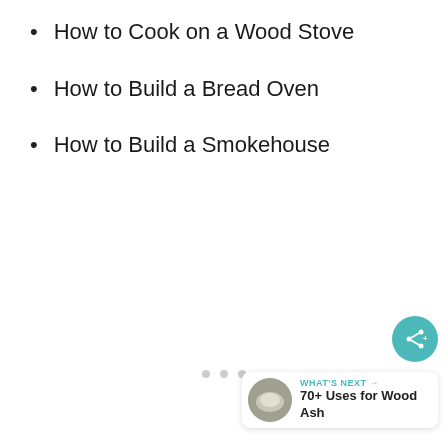How to Cook on a Wood Stove
How to Build a Bread Oven
How to Build a Smokehouse
[Figure (other): Share button (teal circular icon with share symbol)]
[Figure (other): What's Next card showing '70+ Uses for Wood Ash' with thumbnail image]